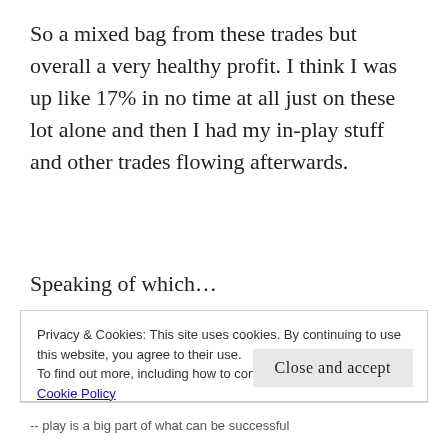So a mixed bag from these trades but overall a very healthy profit. I think I was up like 17% in no time at all just on these lot alone and then I had my in-play stuff and other trades flowing afterwards.
Speaking of which...
Privacy & Cookies: This site uses cookies. By continuing to use this website, you agree to their use.
To find out more, including how to control cookies, see here: Cookie Policy
Close and accept
-- play is a big part of what can be successful